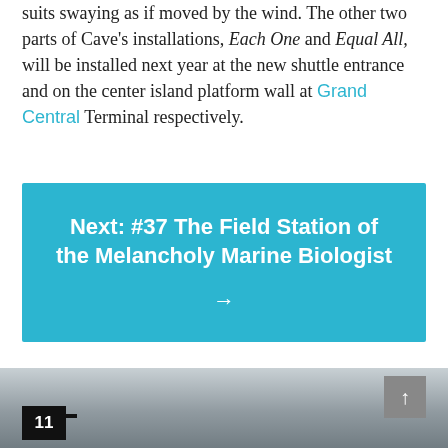suits swaying as if moved by the wind. The other two parts of Cave's installations, Each One and Equal All, will be installed next year at the new shuttle entrance and on the center island platform wall at Grand Central Terminal respectively.
Next: #37 The Field Station of the Melancholy Marine Biologist
View all on one page
[Figure (photo): Partial view of a landscape photo strip at the bottom of the page, with a black badge showing '11' and a scroll-up button]